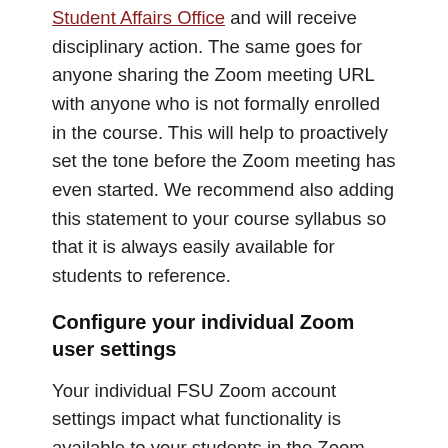Student Affairs Office and will receive disciplinary action. The same goes for anyone sharing the Zoom meeting URL with anyone who is not formally enrolled in the course. This will help to proactively set the tone before the Zoom meeting has even started. We recommend also adding this statement to your course syllabus so that it is always easily available for students to reference.
Configure your individual Zoom user settings
Your individual FSU Zoom account settings impact what functionality is available to your students in the Zoom meetings that you schedule. For this reason, we strongly recommend that you configure